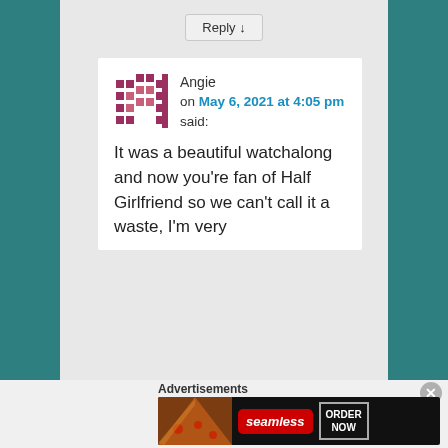Reply ↓
Angie on May 6, 2021 at 4:05 pm said:
It was a beautiful watchalong and now you're fan of Half Girlfriend so we can't call it a waste, I'm very
Advertisements
[Figure (other): Seamless food delivery advertisement banner with pizza image, Seamless logo, and ORDER NOW button]